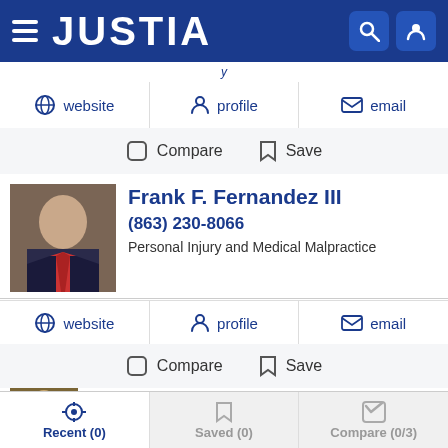[Figure (screenshot): Justia website header with logo and navigation icons]
website   profile   email
Compare   Save
Frank F. Fernandez III
(863) 230-8066
Personal Injury and Medical Malpractice
website   profile   email
Compare   Save
John Paul Berke
Recent (0)   Saved (0)   Compare (0/3)